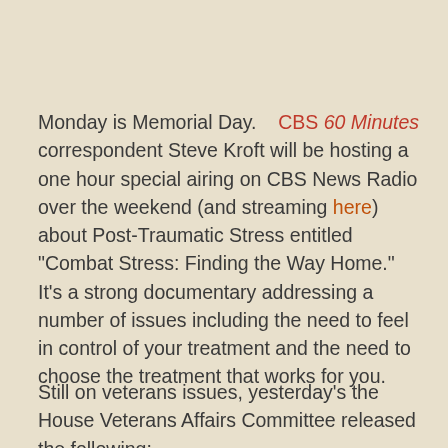Monday is Memorial Day.    CBS 60 Minutes correspondent Steve Kroft will be hosting a one hour special airing on CBS News Radio over the weekend (and streaming here) about Post-Traumatic Stress entitled "Combat Stress: Finding the Way Home." It's a strong documentary addressing a number of issues including the need to feel in control of your treatment and the need to choose the treatment that works for you.
Still on veterans issues, yesterday's the House Veterans Affairs Committee released the following: